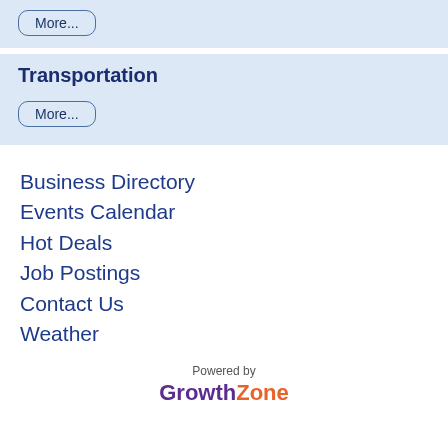More...
Transportation
More...
Business Directory
Events Calendar
Hot Deals
Job Postings
Contact Us
Weather
Powered by GrowthZone